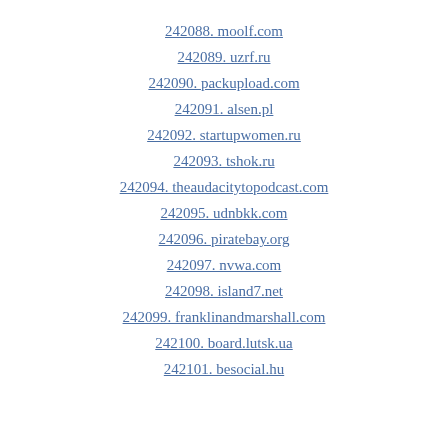242088. moolf.com
242089. uzrf.ru
242090. packupload.com
242091. alsen.pl
242092. startupwomen.ru
242093. tshok.ru
242094. theaudacitytopodcast.com
242095. udnbkk.com
242096. piratebay.org
242097. nvwa.com
242098. island7.net
242099. franklinandmarshall.com
242100. board.lutsk.ua
242101. besocial.hu